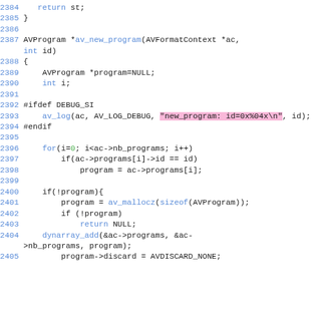Source code listing showing C function av_new_program, lines 2384-2405, with syntax highlighting.